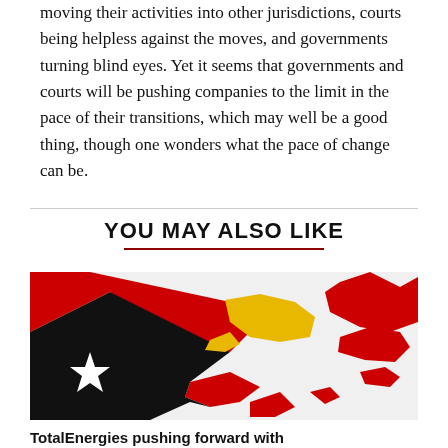moving their activities into other jurisdictions, courts being helpless against the moves, and governments turning blind eyes. Yet it seems that governments and courts will be pushing companies to the limit in the pace of their transitions, which may well be a good thing, though one wonders what the pace of change can be.
YOU MAY ALSO LIKE
[Figure (map): Illustrated map of Papua New Guinea showing the country's islands and regions in red, black, and yellow colors — resembling the pattern of its national flag. A white star is visible on the black portion in the lower left.]
TotalEnergies pushing forward with